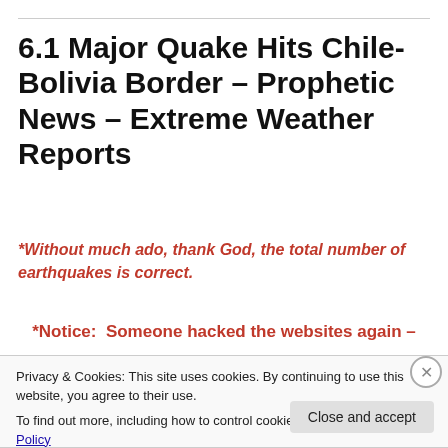6.1 Major Quake Hits Chile-Bolivia Border – Prophetic News – Extreme Weather Reports
*Without much ado, thank God, the total number of earthquakes is correct.
*Notice:  Someone hacked the websites again –
Privacy & Cookies: This site uses cookies. By continuing to use this website, you agree to their use.
To find out more, including how to control cookies, see here: Cookie Policy
Close and accept